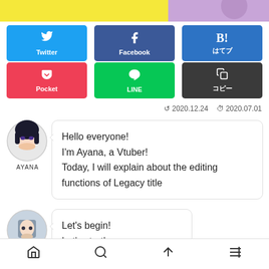[Figure (illustration): Top banner strip with yellow and purple VTuber character image]
[Figure (infographic): Social share buttons: Twitter (blue), Facebook (dark blue), B! hatena (blue), Pocket (red/pink), LINE (green), copy button (dark gray)]
2020.12.24  2020.07.01
[Figure (illustration): Anime VTuber avatar with dark hair, circular profile picture for AYANA]
Hello everyone!
I'm Ayana, a Vtuber!
Today, I will explain about the editing functions of Legacy title
AYANA
[Figure (illustration): Anime VTuber avatar, slightly different pose, circular profile picture for AYANA]
Let's begin!
Let's start!
AYANA
Home  Search  Upload  Menu